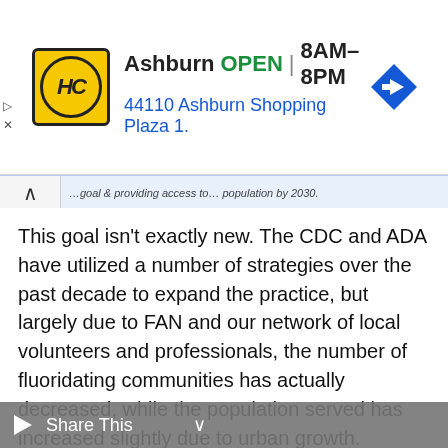[Figure (screenshot): Advertisement banner for HC (Home Center/Hardware) store in Ashburn showing logo, OPEN status, hours 8AM-8PM, address 44110 Ashburn Shopping Plaza 1., and a blue navigation arrow icon]
…goal & providing access to... population by 2030.
This goal isn't exactly new. The CDC and ADA have utilized a number of strategies over the past decade to expand the practice, but largely due to FAN and our network of local volunteers and professionals, the number of fluoridating communities has actually decreased, while the population served has increased slightly due to urban growth.
To accomplish this significant increase over the next eight years, they intend to utilize a new fluoridation system specifically designed to be simple and cheap enough for the smallest
[Figure (screenshot): Share This overlay bar at the bottom of the page with a play button on the left]